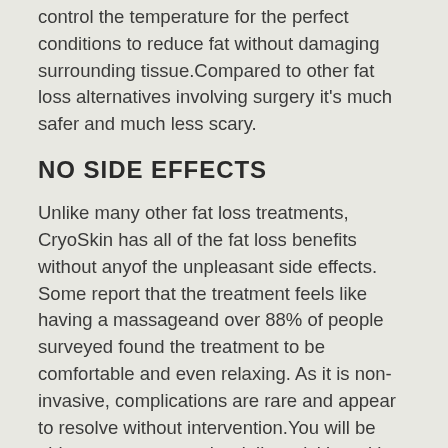control the temperature for the perfect conditions to reduce fat without damaging surrounding tissue.Compared to other fat loss alternatives involving surgery it's much safer and much less scary.
NO SIDE EFFECTS
Unlike many other fat loss treatments, CryoSkin has all of the fat loss benefits without anyof the unpleasant side effects. Some report that the treatment feels like having a massageand over 88% of people surveyed found the treatment to be comfortable and even relaxing. As it is non-invasive, complications are rare and appear to resolve without intervention.You will be able to return to regular daily activities with no discomfort or restrictions.
QUICK AND FLEXIBLE